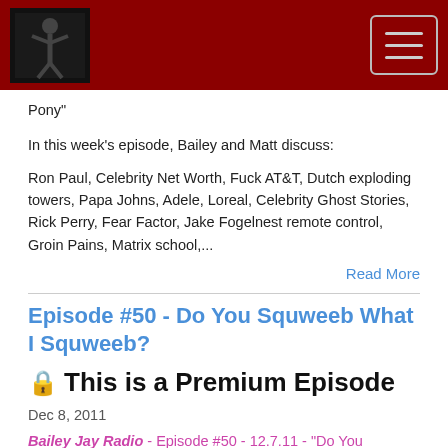[Figure (logo): Bailey Jay Radio logo - small dark image with figure]
Pony"
In this week's episode, Bailey and Matt discuss:
Ron Paul, Celebrity Net Worth, Fuck AT&T, Dutch exploding towers, Papa Johns, Adele, Loreal, Celebrity Ghost Stories, Rick Perry, Fear Factor, Jake Fogelnest remote control, Groin Pains, Matrix school,...
Read More
Episode #50 - Do You Squweeb What I Squweeb?
🔒 This is a Premium Episode
Dec 8, 2011
Bailey Jay Radio - Episode #50 - 12.7.11 - "Do You Squweeb What I Squweeb?"